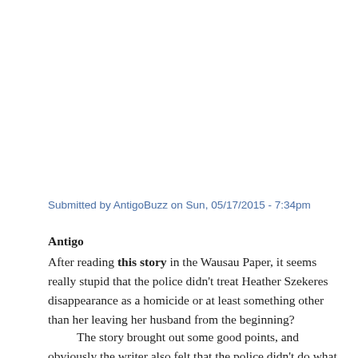Submitted by AntigoBuzz on Sun, 05/17/2015 - 7:34pm
Antigo
After reading this story in the Wausau Paper, it seems really stupid that the police didn't treat Heather Szekeres disappearance as a homicide or at least something other than her leaving her husband from the beginning?
The story brought out some good points, and obviously the writer also felt that the police didn't do what they should have